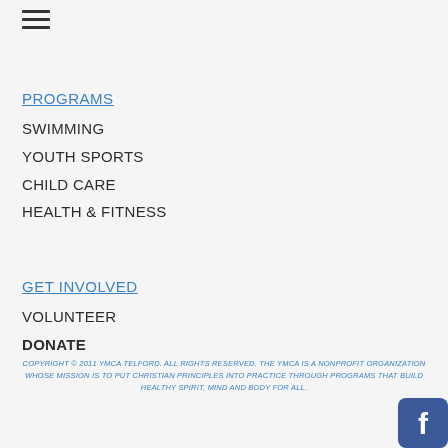[Figure (other): Hamburger menu icon with three horizontal lines]
PROGRAMS
SWIMMING
YOUTH SPORTS
CHILD CARE
HEALTH & FITNESS
GET INVOLVED
VOLUNTEER
DONATE
COPYRIGHT © 2011 YMCA TELFORD. ALL RIGHTS RESERVED. THE YMCA IS A NONPROFIT ORGANIZATION WHOSE MISSION IS TO PUT CHRISTIAN PRINCIPLES INTO PRACTICE THROUGH PROGRAMS THAT BUILD HEALTHY SPIRIT, MIND AND BODY FOR ALL.
[Figure (logo): Facebook icon button in bottom right corner]